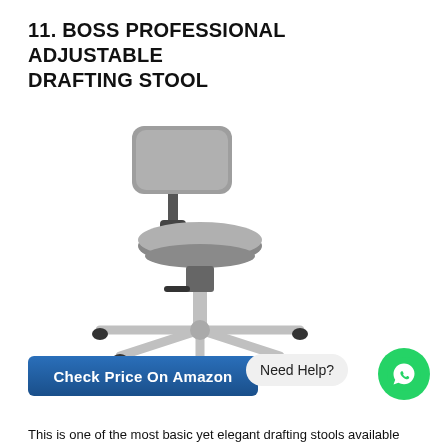11. BOSS PROFESSIONAL ADJUSTABLE DRAFTING STOOL
[Figure (photo): A gray padded drafting stool with back support, round seat, chrome five-star base with casters, and height adjustment mechanism.]
Check Price On Amazon
Need Help?
This is one of the most basic yet elegant drafting stools available